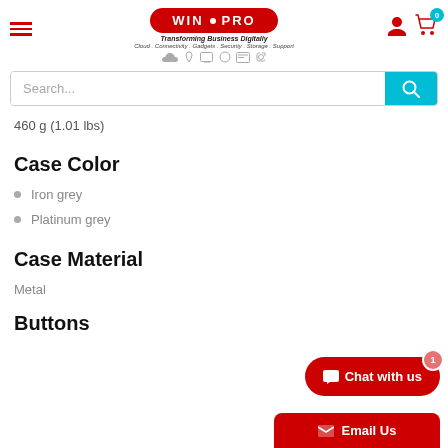[Figure (logo): WIN PRO logo — red oval with WIN DOT PRO text, Transforming Business Digitally tagline, category links, and service icons]
Search...
460 g (1.01 lbs)
Case Color
Iron grey
Platinum grey
Case Material
Metal
Buttons
[Figure (other): Chat with us widget button (red rounded rectangle) with badge showing 1, and Email Us button below]